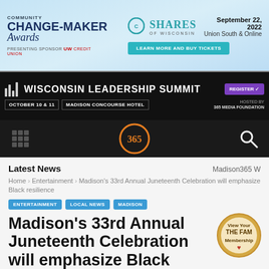[Figure (infographic): Community Change-Maker Awards banner ad with Shares of Wisconsin logo, September 22 2022 date, Union South and Online venue, Learn More and Buy Tickets button, presenting sponsor UW Credit Union]
[Figure (infographic): Wisconsin Leadership Summit banner: October 10 & 11, Madison Concourse Hotel, Register button, Hosted by 365 Media Foundation, UW Credit Union sponsor]
[Figure (infographic): Navigation bar with grid menu icon, Madison 365 orange logo, and search icon on dark background]
Latest News
Madison365 W
Home › Entertainment › Madison's 33rd Annual Juneteenth Celebration will emphasize Black resilience
ENTERTAINMENT
LOCAL NEWS
MADISON
Madison's 33rd Annual Juneteenth Celebration will emphasize Black resilience
[Figure (infographic): Round badge: View Your THE FAM Membership with heart icon, gold/brown circle]